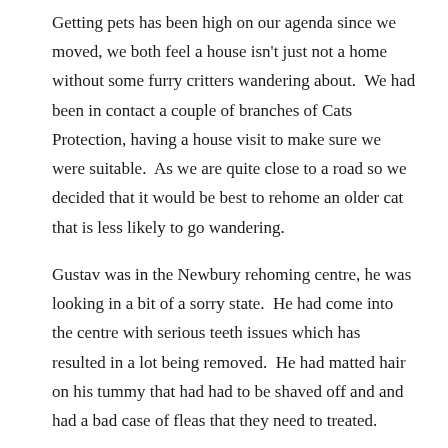Getting pets has been high on our agenda since we moved, we both feel a house isn't just not a home without some furry critters wandering about.  We had been in contact a couple of branches of Cats Protection, having a house visit to make sure we were suitable.  As we are quite close to a road so we decided that it would be best to rehome an older cat that is less likely to go wandering.

Gustav was in the Newbury rehoming centre, he was looking in a bit of a sorry state.  He had come into the centre with serious teeth issues which has resulted in a lot being removed.  He had matted hair on his tummy that had had to be shaved off and and had a bad case of fleas that they need to treated.